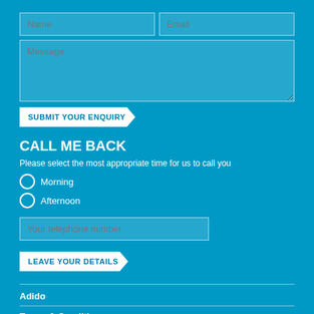[Figure (screenshot): Contact form with Name and Email fields side by side, and a Message textarea below]
SUBMIT YOUR ENQUIRY
CALL ME BACK
Please select the most appropriate time for us to call you
Morning
Afternoon
Your telephone number
LEAVE YOUR DETAILS
Adido
Terms & Conditions
Privacy Policy